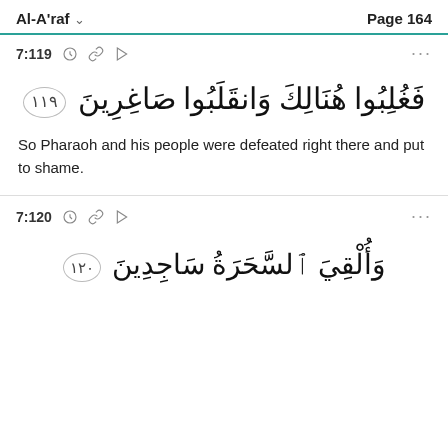Al-A'raf  Page 164
7:119
فَغُلِبُوا هُنَالِكَ وَانقَلَبُوا صَاغِرِينَ ١١٩
So Pharaoh and his people were defeated right there and put to shame.
7:120
وَأُلْقِيَ ٱلسَّحَرَةُ سَاجِدِينَ ١٢٠